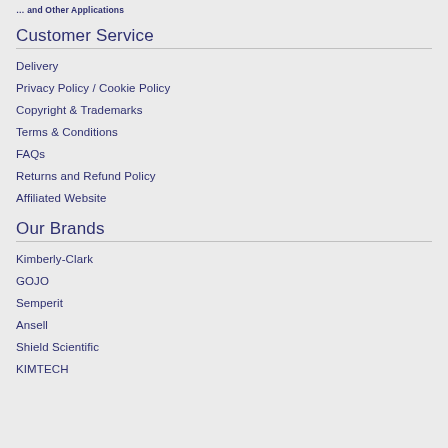… and Other Applications
Customer Service
Delivery
Privacy Policy / Cookie Policy
Copyright & Trademarks
Terms & Conditions
FAQs
Returns and Refund Policy
Affiliated Website
Our Brands
Kimberly-Clark
GOJO
Semperit
Ansell
Shield Scientific
KIMTECH